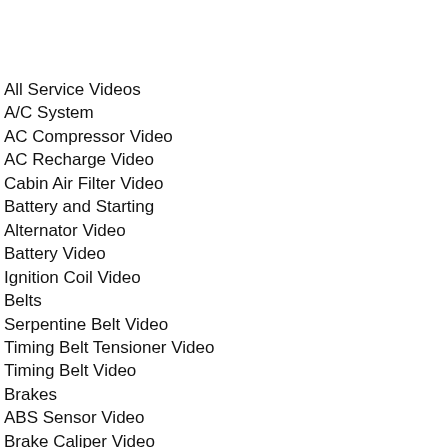All Service Videos
A/C System
AC Compressor Video
AC Recharge Video
Cabin Air Filter Video
Battery and Starting
Alternator Video
Battery Video
Ignition Coil Video
Belts
Serpentine Belt Video
Timing Belt Tensioner Video
Timing Belt Video
Brakes
ABS Sensor Video
Brake Caliper Video